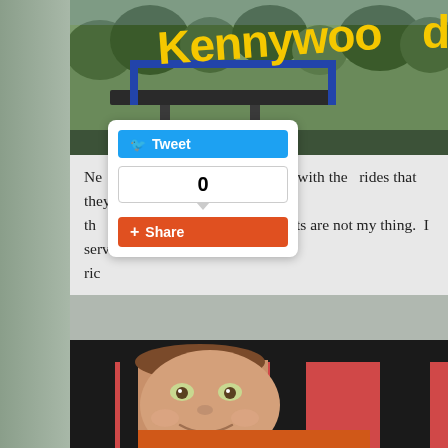[Figure (photo): Kennywood amusement park sign in yellow letters on green-treed background, visible at top of page]
Ne[...]s, they had fun with the  rides that they could go i... th[...] speed and heights are not my thing.  I served as... ric[...]
[Figure (screenshot): Social sharing popup widget with Tweet button (blue), share count showing 0, and Share button (orange/red)]
[Figure (photo): Close-up photo of a smiling child with hazel eyes, framed through black iron bars, with a pink/red background]